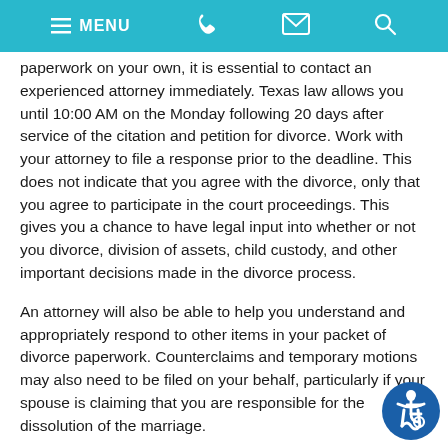MENU
paperwork on your own, it is essential to contact an experienced attorney immediately. Texas law allows you until 10:00 AM on the Monday following 20 days after service of the citation and petition for divorce. Work with your attorney to file a response prior to the deadline. This does not indicate that you agree with the divorce, only that you agree to participate in the court proceedings. This gives you a chance to have legal input into whether or not you divorce, division of assets, child custody, and other important decisions made in the divorce process.
An attorney will also be able to help you understand and appropriately respond to other items in your packet of divorce paperwork. Counterclaims and temporary motions may also need to be filed on your behalf, particularly if your spouse is claiming that you are responsible for the dissolution of the marriage.